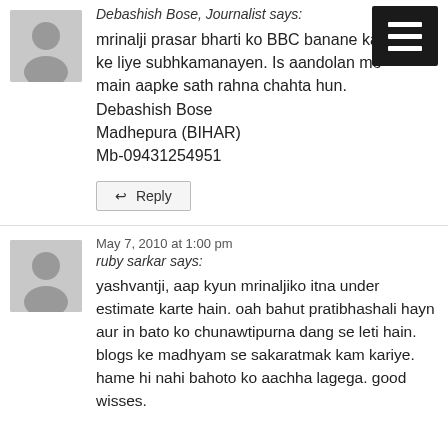Debashish Bose, Journalist says:
mrinalji prasar bharti ko BBC banane ka ke liye subhkamanayen. Is aandolan me main aapke sath rahna chahta hun. Debashish Bose Madhepura (BIHAR) Mb-09431254951
↩ Reply
May 7, 2010 at 1:00 pm
ruby sarkar says:
yashvantji, aap kyun mrinaljiko itna under estimate karte hain. oah bahut pratibhashali hayn aur in bato ko chunawtipurna dang se leti hain. blogs ke madhyam se sakaratmak kam kariye. hame hi nahi bahoto ko aachha lagega. good wisses.